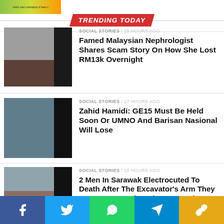[Figure (photo): Top banner advertisement with colorful packaging image]
TRENDING TODAY
[Figure (photo): Photo of hands with money/cards - scam story]
SOCIAL STORIES / 15 hours ago
Famed Malaysian Nephrologist Shares Scam Story On How She Lost RM13k Overnight
[Figure (photo): Photo of man at event - Zahid Hamidi story]
SOCIAL STORIES / 17 hours ago
Zahid Hamidi: GE15 Must Be Held Soon Or UMNO And Barisan Nasional Will Lose
[Figure (photo): Photo of road/landscape - electrocution story]
SOCIAL STORIES / 15 hours ago
2 Men In Sarawak Electrocuted To Death After The Excavator’s Arm They Were Transporting Hits Power Line
SOCIAL STORIES / 4...